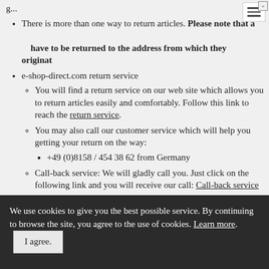There is more than one way to return articles. Please note that all articles have to be returned to the address from which they originated.
e-shop-direct.com return service
You will find a return service on our web site which allows you to return articles easily and comfortably. Follow this link to reach the return service.
You may also call our customer service which will help you getting your return on the way:
+49 (0)8158 / 454 38 62 from Germany
Call-back service: We will gladly call you. Just click on the following link and you will receive our call: Call-back service
Tracking
As soon as the package is being shipped you will receive an email
We use cookies to give you the best possible service. By continuing to browse the site, you agree to the use of cookies. Learn more   I agree.